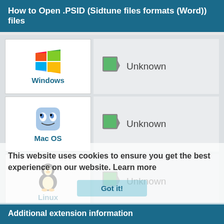How to Open .PSID (Sidtune files formats (Word)) files
[Figure (screenshot): Table showing Windows, Mac OS, Linux OS icons each paired with 'Unknown' application label]
This website uses cookies to ensure you get the best experience on our website. Learn more
Additional extension information